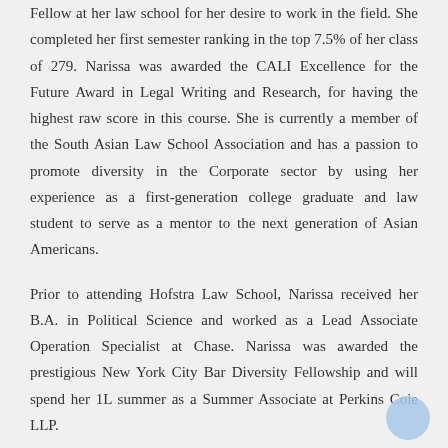Fellow at her law school for her desire to work in the field. She completed her first semester ranking in the top 7.5% of her class of 279. Narissa was awarded the CALI Excellence for the Future Award in Legal Writing and Research, for having the highest raw score in this course. She is currently a member of the South Asian Law School Association and has a passion to promote diversity in the Corporate sector by using her experience as a first-generation college graduate and law student to serve as a mentor to the next generation of Asian Americans.
Prior to attending Hofstra Law School, Narissa received her B.A. in Political Science and worked as a Lead Associate Operation Specialist at Chase. Narissa was awarded the prestigious New York City Bar Diversity Fellowship and will spend her 1L summer as a Summer Associate at Perkins Coie LLP.